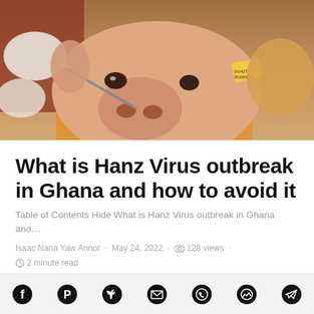[Figure (photo): Close-up photo of a pig being examined with a nasal swab, held by gloved hands. The pig has an ear tag visible.]
What is Hanz Virus outbreak in Ghana and how to avoid it
Table of Contents Hide What is Hanz Virus outbreak in Ghana and…
Isaac Nana Yaw Annor · May 24, 2022 · 128 views · 2 minute read